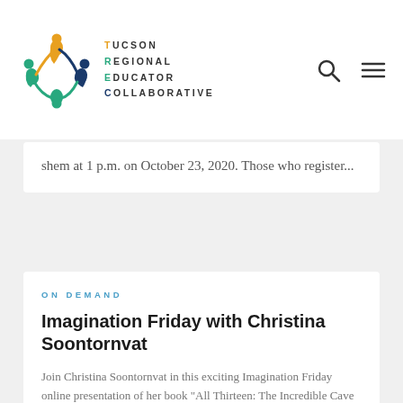[Figure (logo): Tucson Regional Educator Collaborative logo with colorful circular figures and text]
shem at 1 p.m. on October 23, 2020. Those who register...
ON DEMAND
Imagination Friday with Christina Soontornvat
Join Christina Soontornvat in this exciting Imagination Friday online presentation of her book "All Thirteen: The Incredible Cave Rescue of...
ON DEMAND